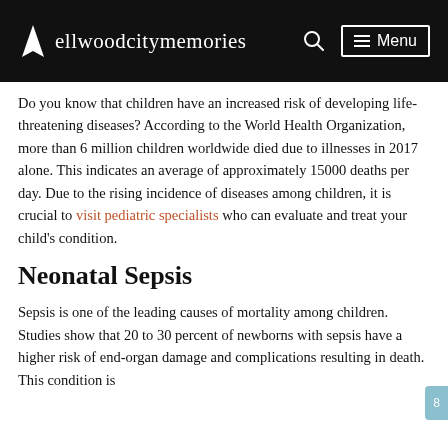ellwoodcitymemories  [search icon]  ☰ Menu
Do you know that children have an increased risk of developing life-threatening diseases? According to the World Health Organization, more than 6 million children worldwide died due to illnesses in 2017 alone. This indicates an average of approximately 15000 deaths per day. Due to the rising incidence of diseases among children, it is crucial to visit pediatric specialists who can evaluate and treat your child's condition.
Neonatal Sepsis
Sepsis is one of the leading causes of mortality among children. Studies show that 20 to 30 percent of newborns with sepsis have a higher risk of end-organ damage and complications resulting in death. This condition is...